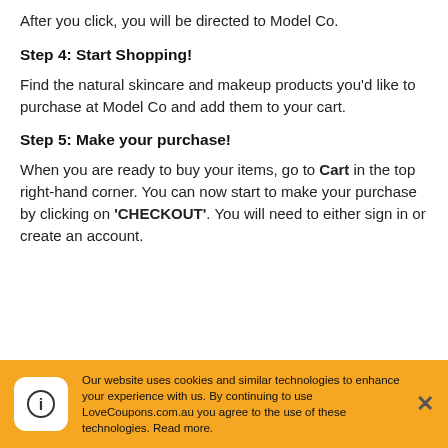After you click, you will be directed to Model Co.
Step 4: Start Shopping!
Find the natural skincare and makeup products you'd like to purchase at Model Co and add them to your cart.
Step 5: Make your purchase!
When you are ready to buy your items, go to Cart in the top right-hand corner. You can now start to make your purchase by clicking on 'CHECKOUT'. You will need to either sign in or create an account.
Our website uses cookies and similar technologies to enhance your experience with us. By continuing to use LoveCoupons.com.au you agree to the use of these technologies. Read more.